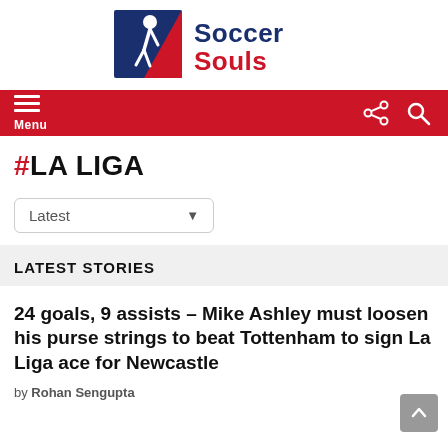[Figure (logo): Soccer Souls logo with soccer player silhouette icon and text 'Soccer Souls' in blue and red]
Menu [hamburger nav bar with share and search icons]
#LA LIGA
Latest [dropdown]
LATEST STORIES
24 goals, 9 assists – Mike Ashley must loosen his purse strings to beat Tottenham to sign La Liga ace for Newcastle
by Rohan Sengupta